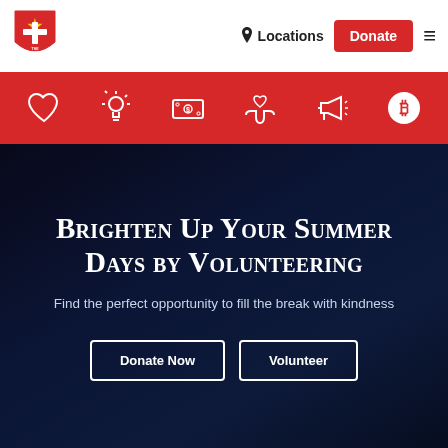[Figure (logo): Salvation Army shield logo in top-left of navigation bar]
Locations   Donate   ≡
[Figure (infographic): Red icon navigation bar with 6 white icons: heart, lightbulb, dollar bill, hands holding heart, megaphone, Bitcoin symbol]
Brighten Up Your Summer Days by Volunteering
Find the perfect opportunity to fill the break with kindness
Donate Now   Volunteer